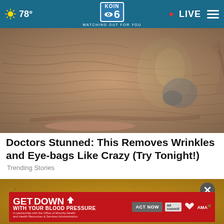78° KOIN 6 CBS WATCHING OUT FOR YOU • LIVE
[Figure (photo): Close-up macro photo of an elderly person's face showing wrinkles, skin texture near the nose and lips]
Doctors Stunned: This Removes Wrinkles and Eye-bags Like Crazy (Try Tonight!)
Trending Stories
[Figure (photo): Close-up photo of a grainy bread or baked good surface with an advertisement overlay]
[Figure (infographic): GET DOWN WITH YOUR BLOOD PRESSURE advertisement banner. In partnership with the Office of Minority Health and Health Resources & Services Administration. ACT NOW button. Ad Council, American Heart Association, AMA logos.]